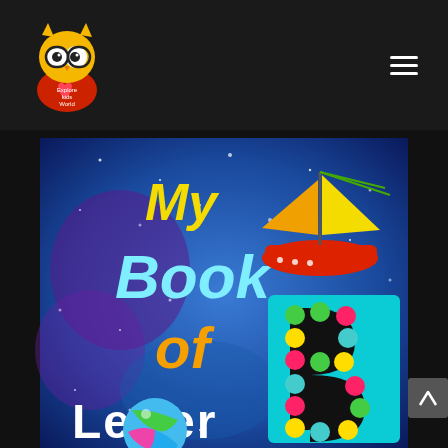Explore Kids World
[Figure (illustration): Book cover titled 'My Book of Letter B' on a blue starry background with a colorful letter B made of dots, a red sailboat, and a colorful ball. Displayed as a website screenshot with dark header and navigation.]